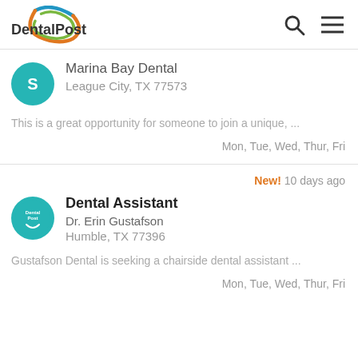DentalPost
Marina Bay Dental
League City, TX 77573
This is a great opportunity for someone to join a unique, ...
Mon, Tue, Wed, Thur, Fri
New! 10 days ago
Dental Assistant
Dr. Erin Gustafson
Humble, TX 77396
Gustafson Dental is seeking a chairside dental assistant ...
Mon, Tue, Wed, Thur, Fri